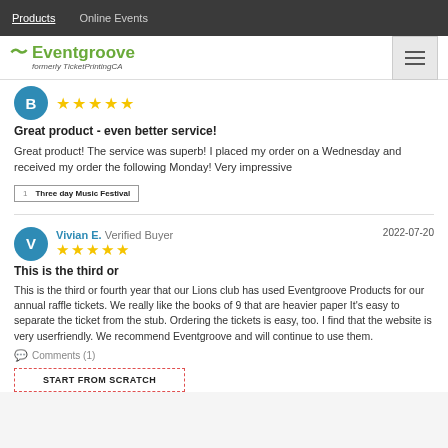Products   Online Events
[Figure (logo): Eventgroove logo with tilde symbol, subtitle: formerly TicketPrintingCA]
★★★★★
Great product - even better service!
Great product! The service was superb! I placed my order on a Wednesday and received my order the following Monday! Very impressive
Three day Music Festival
Vivian E. Verified Buyer   2022-07-20
★★★★★
This is the third or
This is the third or fourth year that our Lions club has used Eventgroove Products for our annual raffle tickets. We really like the books of 9 that are heavier paper It's easy to separate the ticket from the stub. Ordering the tickets is easy, too. I find that the website is very userfriendly. We recommend Eventgroove and will continue to use them.
Comments (1)
START FROM SCRATCH